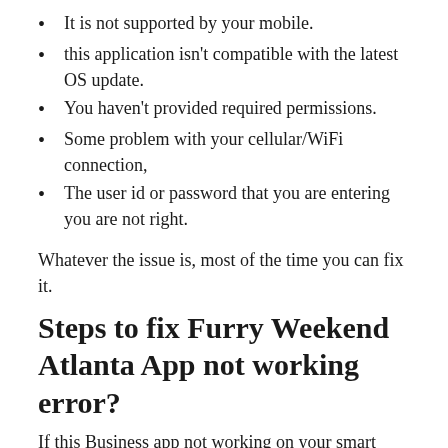It is not supported by your mobile.
this application isn't compatible with the latest OS update.
You haven't provided required permissions.
Some problem with your cellular/WiFi connection,
The user id or password that you are entering you are not right.
Whatever the issue is, most of the time you can fix it.
Steps to fix Furry Weekend Atlanta App not working error?
If this Business app not working on your smart phone, here is what you can do-
Check that that you are using the latest version